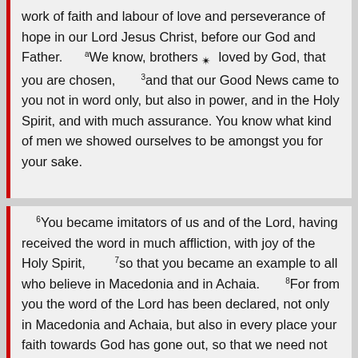work of faith and labour of love and perseverance of hope in our Lord Jesus Christ, before our God and Father.   ᵃWe know, brothers ✵  loved by God, that you are chosen,       ³and that our Good News came to you not in word only, but also in power, and in the Holy Spirit, and with much assurance. You know what kind of men we showed ourselves to be amongst you for your sake.
ᵒYou became imitators of us and of the Lord, having received the word in much affliction, with joy of the Holy Spirit,       ⁷so that you became an example to all who believe in Macedonia and in Achaia.       ⁸For from you the word of the Lord has been declared, not only in Macedonia and Achaia, but also in every place your faith towards God has gone out, so that we need not to say anything.   ⁹For they themselves report concerning us what